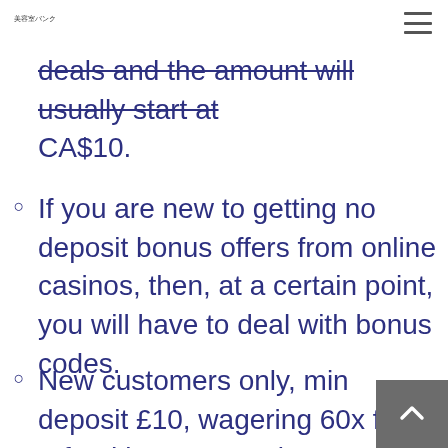美容室バンク
deals and the amount will usually start at CA$10.
If you are new to getting no deposit bonus offers from online casinos, then, at a certain point, you will have to deal with bonus codes.
New customers only, min deposit £10, wagering 60x for refund bonus, max bet £5 with bonus funds.